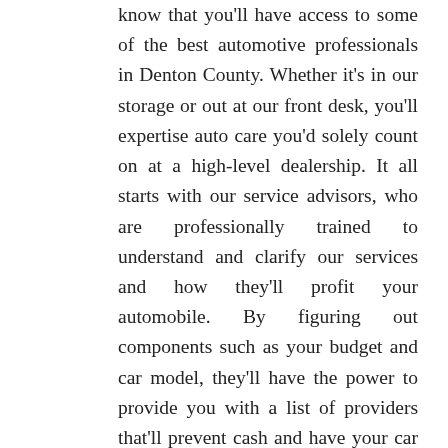know that you'll have access to some of the best automotive professionals in Denton County. Whether it's in our storage or out at our front desk, you'll expertise auto care you'd solely count on at a high-level dealership. It all starts with our service advisors, who are professionally trained to understand and clarify our services and how they'll profit your automobile. By figuring out components such as your budget and car model, they'll have the power to provide you with a list of providers that'll prevent cash and have your car humming around Colony, TX.
Additionally, specific areas of the inside of our prospects automobiles are being